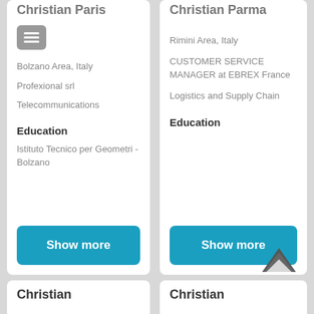Christian Paris (partially cut off at top)
Bolzano Area, Italy
Profexional srl
Telecommunications
Education
Istituto Tecnico per Geometri - Bolzano
Show more
Christian Parma (partially cut off at top)
Rimini Area, Italy
CUSTOMER SERVICE MANAGER at EBREX France
Logistics and Supply Chain
Education
Show more
Christian
Christian